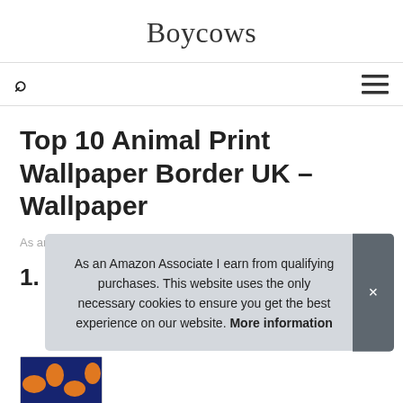Boycows
[Figure (screenshot): Search icon (magnifying glass) on left, hamburger menu icon on right — navigation bar]
Top 10 Animal Print Wallpaper Border UK – Wallpaper
As an Amazon Associate I earn from qualifying purchases.
1.
As an Amazon Associate I earn from qualifying purchases. This website uses the only necessary cookies to ensure you get the best experience on our website. More information
[Figure (photo): Partial image of animal print wallpaper border showing orange and blue pattern]